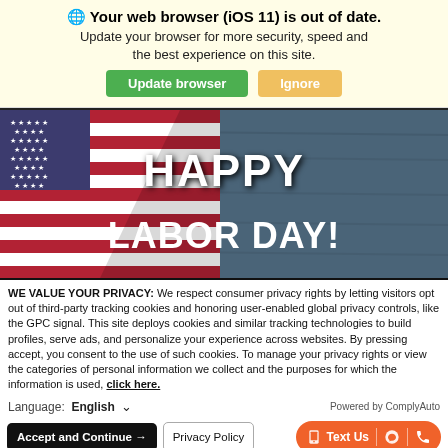🌐 Your web browser (iOS 11) is out of date. Update your browser for more security, speed and the best experience on this site.
Update browser | Ignore
[Figure (photo): American flag on a wooden background with white bold text reading 'HAPPY LABOR DAY!']
WE VALUE YOUR PRIVACY: We respect consumer privacy rights by letting visitors opt out of third-party tracking cookies and honoring user-enabled global privacy controls, like the GPC signal. This site deploys cookies and similar tracking technologies to build profiles, serve ads, and personalize your experience across websites. By pressing accept, you consent to the use of such cookies. To manage your privacy rights or view the categories of personal information we collect and the purposes for which the information is used, click here.
Language: English ∨ Powered by ComplyAuto
Accept and Continue → | Privacy Policy | Text Us | [messenger icon] | [phone icon]